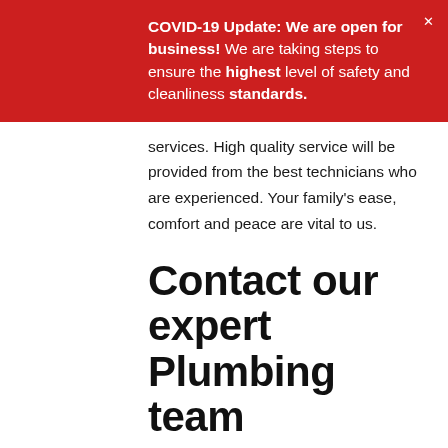COVID-19 Update: We are open for business! We are taking steps to ensure the highest level of safety and cleanliness standards.
services. High quality service will be provided from the best technicians who are experienced. Your family's ease, comfort and peace are vital to us.
Contact our expert Plumbing team
Here at 1st Response Plumbing have a regard for authenticity and believe in